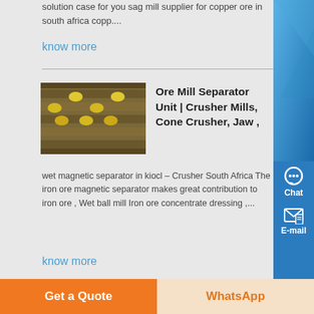solution case for you sag mill supplier for copper ore in south africa copp....
know more
[Figure (photo): Industrial conveyor belt with yellow equipment/ore processing machinery]
Ore Mill Separator Unit | Crusher Mills, Cone Crusher, Jaw ,
wet magnetic separator in kiocl – Crusher South Africa The iron ore magnetic separator makes great contribution to iron ore , Wet ball mill Iron ore concentrate dressing ,...
know more